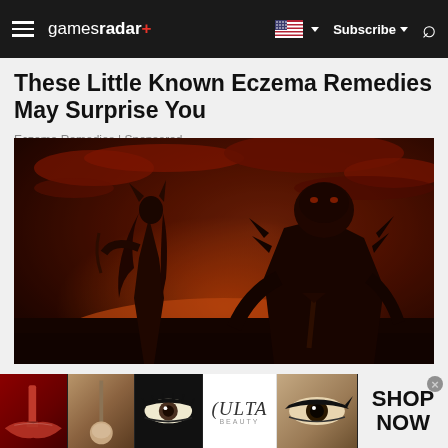gamesradar+ | Subscribe | Search
These Little Known Eczema Remedies May Surprise You
Eczema Remedies | Sponsored
[Figure (photo): Dark fantasy game art showing a female warrior with horned helmet facing a large armored beast-like creature, with a dramatic red sky background]
[Figure (photo): Ulta Beauty advertisement banner showing close-up images of red lips with lipstick, a makeup brush, an eye with dramatic makeup, the Ulta Beauty logo, another eye with smoky makeup, and a SHOP NOW call to action]